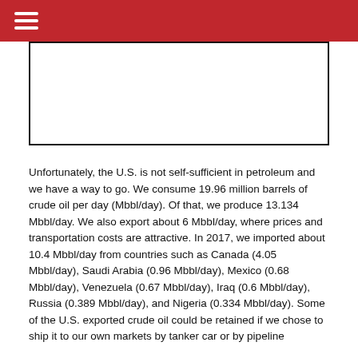[Figure (other): Empty bordered rectangle placeholder for an image or chart]
Unfortunately, the U.S. is not self-sufficient in petroleum and we have a way to go. We consume 19.96 million barrels of crude oil per day (Mbbl/day). Of that, we produce 13.134 Mbbl/day. We also export about 6 Mbbl/day, where prices and transportation costs are attractive. In 2017, we imported about 10.4 Mbbl/day from countries such as Canada (4.05 Mbbl/day), Saudi Arabia (0.96 Mbbl/day), Mexico (0.68 Mbbl/day), Venezuela (0.67 Mbbl/day), Iraq (0.6 Mbbl/day), Russia (0.389 Mbbl/day), and Nigeria (0.334 Mbbl/day). Some of the U.S. exported crude oil could be retained if we chose to ship it to our own markets by tanker car or by pipeline